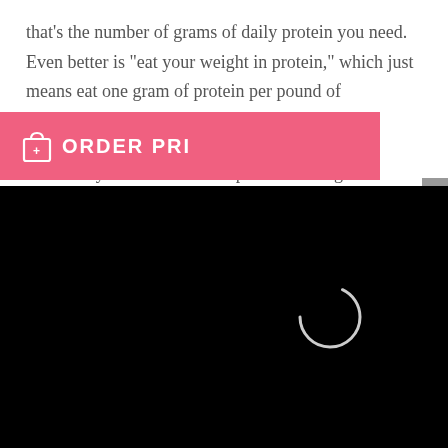that's the number of grams of daily protein you need. Even better is "eat your weight in protein," which just means eat one gram of protein per pound of bodyweight.
That's why breakfast is so important. It's a great chance to fit in a solid serving of protein to kick off your day right and consume enough calories so that your metabolism is revved up for the day. Some people aren't a huge that's okay. Every body is d some to fit in extra protein to achieve fat loss. this meal
[Figure (screenshot): Black video player overlay with loading spinner in center, and a close (×) button in top-right gray box]
[Figure (screenshot): Pink/coral ORDER PRINT button overlay with shopping bag icon, partially visible]